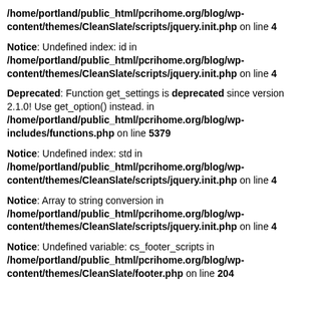/home/portland/public_html/pcrihome.org/blog/wp-content/themes/CleanSlate/scripts/jquery.init.php on line 4
Notice: Undefined index: id in /home/portland/public_html/pcrihome.org/blog/wp-content/themes/CleanSlate/scripts/jquery.init.php on line 4
Deprecated: Function get_settings is deprecated since version 2.1.0! Use get_option() instead. in /home/portland/public_html/pcrihome.org/blog/wp-includes/functions.php on line 5379
Notice: Undefined index: std in /home/portland/public_html/pcrihome.org/blog/wp-content/themes/CleanSlate/scripts/jquery.init.php on line 4
Notice: Array to string conversion in /home/portland/public_html/pcrihome.org/blog/wp-content/themes/CleanSlate/scripts/jquery.init.php on line 4
Notice: Undefined variable: cs_footer_scripts in /home/portland/public_html/pcrihome.org/blog/wp-content/themes/CleanSlate/footer.php on line 204